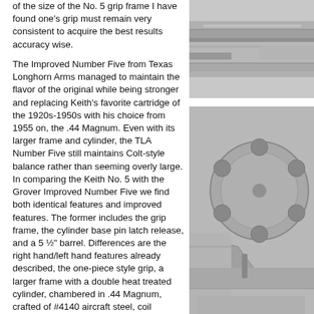of the size of the No. 5 grip frame I have found one's grip must remain very consistent to acquire the best results accuracy wise.
The Improved Number Five from Texas Longhorn Arms managed to maintain the flavor of the original while being stronger and replacing Keith's favorite cartridge of the 1920s-1950s with his choice from 1955 on, the .44 Magnum. Even with its larger frame and cylinder, the TLA Number Five still maintains Colt-style balance rather than seeming overly large. In comparing the Keith No. 5 with the Grover Improved Number Five we find both identical features and improved features. The former includes the grip frame, the cylinder base pin latch release, and a 5 ½" barrel. Differences are the right hand/left hand features already described, the one-piece style grip, a larger frame with a double heat treated cylinder, chambered in .44 Magnum, crafted of #4140 aircraft steel, coil springs, rounded trigger guard, frame mounted firing pin, improved adjustable sights, a larger ejector rod head, and the fact no frame screws protruded to the left side of the sixgun. I certainly call all of this improvement.
As mentioned, Grover's original plans were to build 1200 Improved Number Fives in .44
[Figure (photo): Top photograph showing a close-up side view of a revolver barrel and frame, in black and white/grayscale.]
[Figure (photo): Bottom photograph showing a close-up view of a revolver's cylinder, trigger guard, and frame area, in black and white/grayscale.]